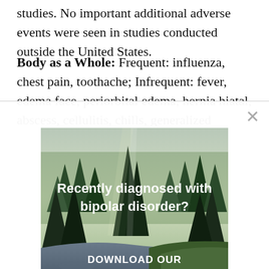studies. No important additional adverse events were seen in studies conducted outside the United States.
Body as a Whole: Frequent: influenza, chest pain, toothache; Infrequent: fever, edema face, periorbital edema, hernia hiatal, abscess, cellulitis, chills, generalized
[Figure (photo): Advertisement modal overlay showing a forest/river landscape photo with text 'Recently diagnosed with bipolar disorder? DOWNLOAD OUR FREE EBOOK NOW.' and a close button (×) in the top right corner. Below the image is the label 'advertisement'.]
advertisement
edema, pemphigoid, and this is additional text continuing below the modal.